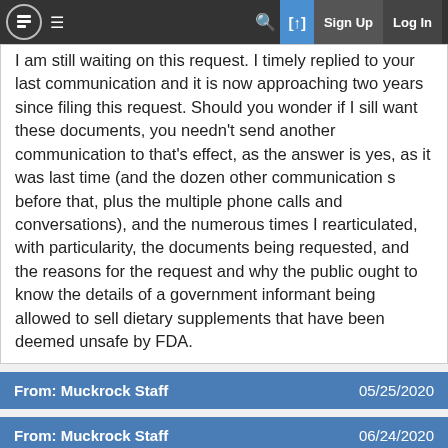MuckRock — Sign Up | Log In
I am still waiting on this request. I timely replied to your last communication and it is now approaching two years since filing this request. Should you wonder if I sill want these documents, you needn't send another communication to that's effect, as the answer is yes, as it was last time (and the dozen other communication s before that, plus the multiple phone calls and conversations), and the numerous times I rearticulated, with particularity, the documents being requested, and the reasons for the request and why the public ought to know the details of a government informant being allowed to sell dietary supplements that have been deemed unsafe by FDA.
From: Muckrock Staff   05/25/2020
From: Muckrock Staff   06/24/2020